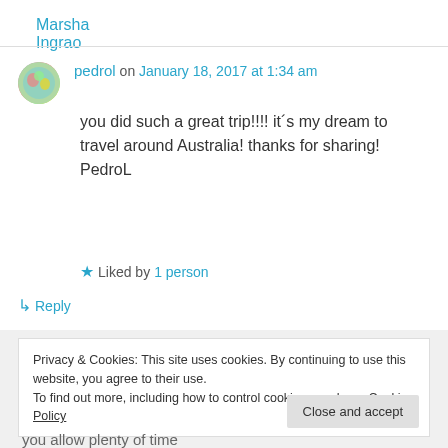Marsha Ingrao
pedrol on January 18, 2017 at 1:34 am
you did such a great trip!!!! it´s my dream to travel around Australia! thanks for sharing! PedroL
★ Liked by 1 person
↳ Reply
Privacy & Cookies: This site uses cookies. By continuing to use this website, you agree to their use.
To find out more, including how to control cookies, see here: Cookie Policy
Close and accept
you allow plenty of time